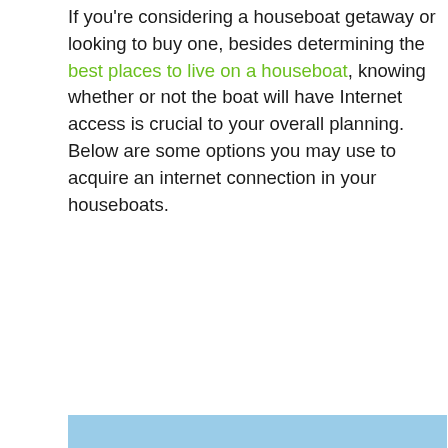If you're considering a houseboat getaway or looking to buy one, besides determining the best places to live on a houseboat, knowing whether or not the boat will have Internet access is crucial to your overall planning. Below are some options you may use to acquire an internet connection in your houseboats.
[Figure (photo): A traditional Kerala houseboat (kettuvallam) floating on a calm backwater with a backdrop of dense palm trees and blue sky. The boat has a wooden structure with a thatched roof and dark hull, reflected in the still water.]